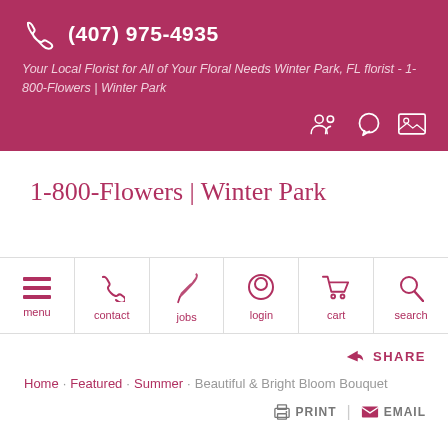(407) 975-4935
Your Local Florist for All of Your Floral Needs Winter Park, FL florist - 1-800-Flowers | Winter Park
1-800-Flowers | Winter Park
[Figure (infographic): Navigation bar with icons for menu, contact, jobs, login, cart, search]
SHARE
Home  Featured  Summer  Beautiful & Bright Bloom Bouquet
PRINT  EMAIL